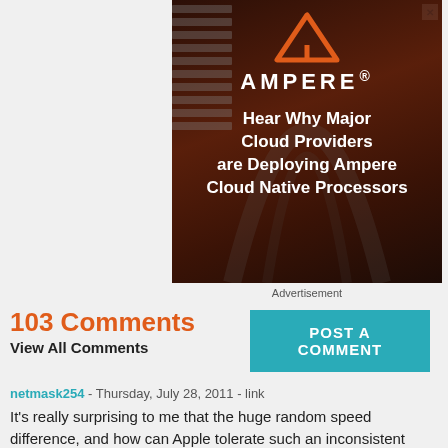[Figure (advertisement): Ampere advertisement with dark red/brown background showing server room. Orange triangle logo above text 'AMPERE.' followed by 'Hear Why Major Cloud Providers are Deploying Ampere Cloud Native Processors']
Advertisement
103 Comments
View All Comments
POST A COMMENT
netmask254 - Thursday, July 28, 2011 - link
It's really surprising to me that the huge random speed difference, and how can Apple tolerate such an inconsistent behavior among different machines? I heard that the buyer will randomly get a Sumsung or Toshiba SSD even for the same model, that's too bad. However, maybe most Apple users don't care about it or don't know it.